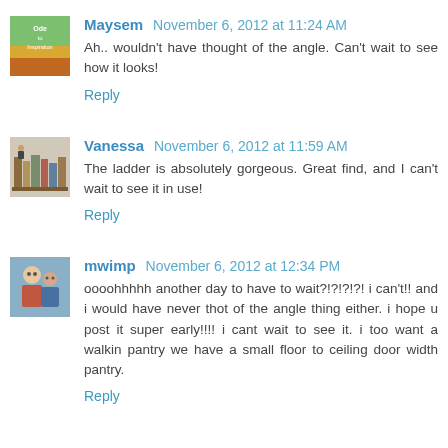[Figure (photo): Avatar image for Maysem - colored book/logo style image]
Maysem November 6, 2012 at 11:24 AM
Ah.. wouldn't have thought of the angle. Can't wait to see how it looks!
Reply
[Figure (photo): Avatar image for Vanessa - books on shelf]
Vanessa November 6, 2012 at 11:59 AM
The ladder is absolutely gorgeous. Great find, and I can't wait to see it in use!
Reply
[Figure (photo): Avatar image for mwimp - two people]
mwimp November 6, 2012 at 12:34 PM
oooohhhhh another day to have to wait?!?!?!?! i can't!! and i would have never thot of the angle thing either. i hope u post it super early!!!! i cant wait to see it. i too want a walkin pantry we have a small floor to ceiling door width pantry.
Reply